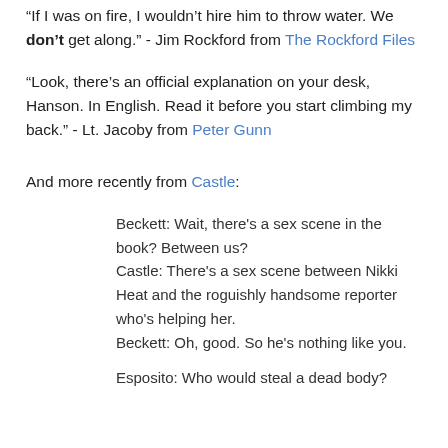“If I was on fire, I wouldn’t hire him to throw water. We don’t get along.” - Jim Rockford from The Rockford Files
“Look, there’s an official explanation on your desk, Hanson. In English. Read it before you start climbing my back.” - Lt. Jacoby from Peter Gunn
And more recently from Castle:
Beckett: Wait, there's a sex scene in the book? Between us?
Castle: There's a sex scene between Nikki Heat and the roguishly handsome reporter who's helping her.
Beckett: Oh, good. So he's nothing like you.
Esposito: Who would steal a dead body?